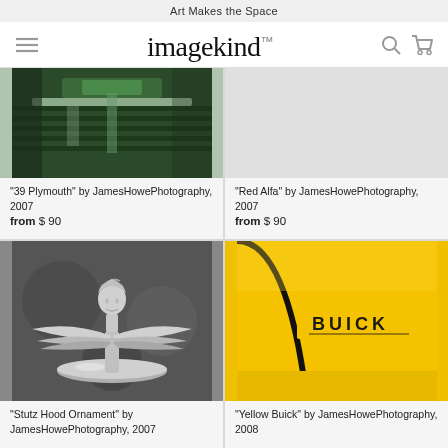Art Makes the Space
[Figure (logo): Imagekind logo with hamburger menu, search icon, and cart icon]
[Figure (photo): Close-up photo of a 1939 Plymouth green car grille]
“39 Plymouth” by JamesHowePhotography, 2007
from $ 90
[Figure (photo): Placeholder/empty photo area for Red Alfa]
“Red Alfa” by JamesHowePhotography, 2007
from $ 90
[Figure (photo): Black and white photo of a Stutz hood ornament, a chrome female figure]
“Stutz Hood Ornament” by JamesHowePhotography, 2007
[Figure (photo): Close-up photo of yellow Buick car with Buick lettering badge]
“Yellow Buick” by JamesHowePhotography, 2008